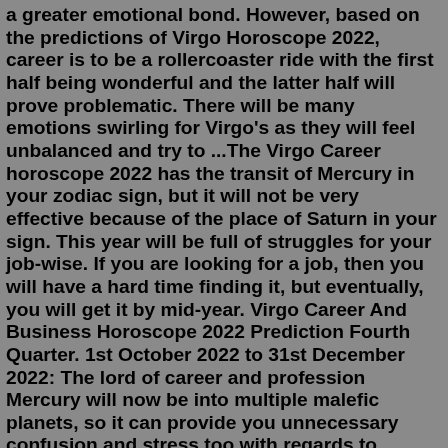a greater emotional bond. However, based on the predictions of Virgo Horoscope 2022, career is to be a rollercoaster ride with the first half being wonderful and the latter half will prove problematic. There will be many emotions swirling for Virgo's as they will feel unbalanced and try to ...The Virgo Career horoscope 2022 has the transit of Mercury in your zodiac sign, but it will not be very effective because of the place of Saturn in your sign. This year will be full of struggles for your job-wise. If you are looking for a job, then you will have a hard time finding it, but eventually, you will get it by mid-year. Virgo Career And Business Horoscope 2022 Prediction Fourth Quarter. 1st October 2022 to 31st December 2022: The lord of career and profession Mercury will now be into multiple malefic planets, so it can provide you unnecessary confusion and stress too with regards to career, avoid taking any major decision in the month of October and November. Virgo Career Horoscope. August 2022 - The month of August brings some financial opportunities. The full moon in Aquarius is